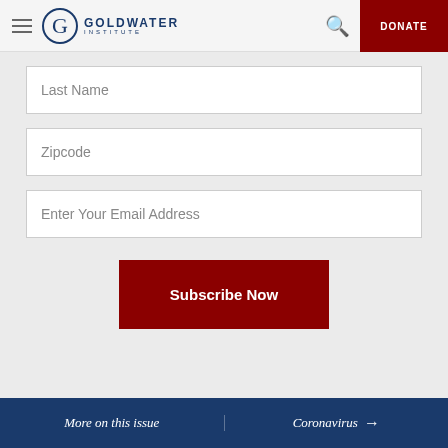Goldwater Institute - DONATE
Last Name
Zipcode
Enter Your Email Address
Subscribe Now
More on this issue | Coronavirus →